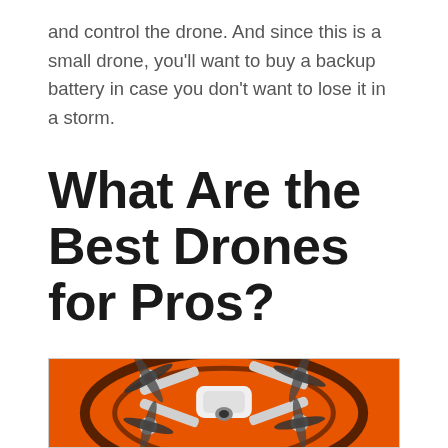and control the drone. And since this is a small drone, you'll want to buy a backup battery in case you don't want to lose it in a storm.
What Are the Best Drones for Pros?
[Figure (photo): A white quadcopter drone with orange and dark propellers photographed from above on an orange background/landing pad]